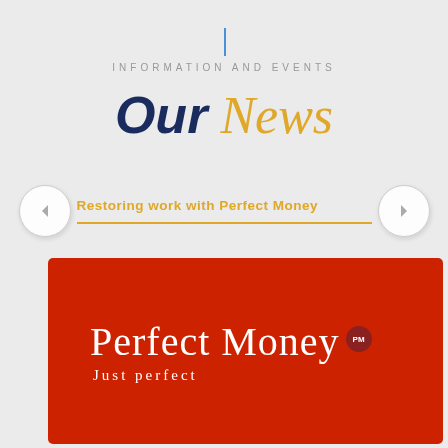INFORMATION AND EVENTS
Our News
Restoring work with Perfect Money
[Figure (logo): Perfect Money logo on red background with text 'Perfect Money PM Just perfect']